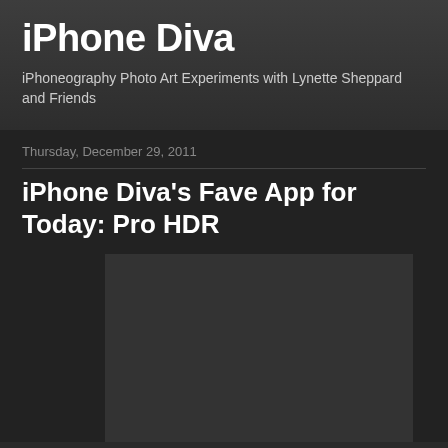iPhone Diva
iPhoneography Photo Art Experiments with Lynette Sheppard and Friends
Thursday, December 29, 2011
iPhone Diva's Fave App for Today: Pro HDR
[Figure (photo): Dark placeholder image area representing an embedded blog post image]